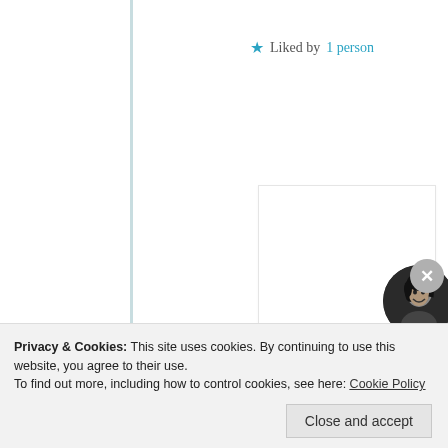★ Liked by 1 person
Log in to Reply
samsahana
9th Jul 2021 at 1:11 pm
You are very welcome 😀
Privacy & Cookies: This site uses cookies. By continuing to use this website, you agree to their use.
To find out more, including how to control cookies, see here: Cookie Policy
Close and accept